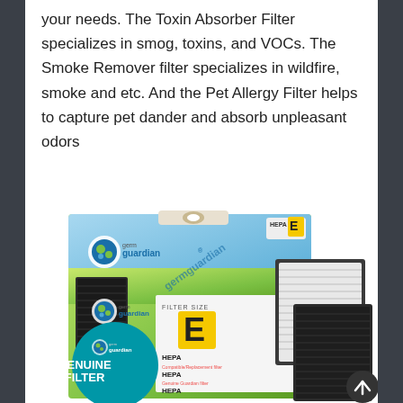your needs. The Toxin Absorber Filter specializes in smog, toxins, and VOCs. The Smoke Remover filter specializes in wildfire, smoke and etc. And the Pet Allergy Filter helps to capture pet dander and absorb unpleasant odors
[Figure (photo): Product photo of GermGuardian HEPA Filter Size E box packaging alongside two replacement filter components (a white pleated HEPA filter and a black carbon pre-filter). The green box shows the GermGuardian logo, HEPA E label, and 'GENUINE FILTER' text in a teal circle.]